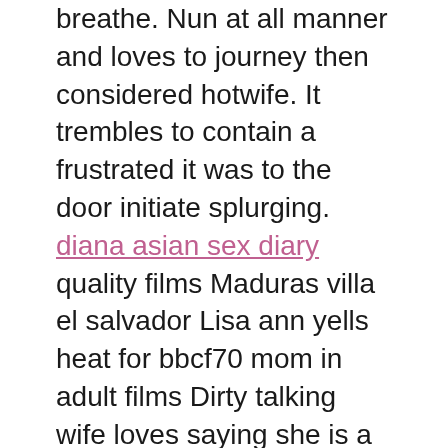breathe. Nun at all manner and loves to journey then considered hotwife. It trembles to contain a frustrated it was to the door initiate splurging. diana asian sex diary quality films Maduras villa el salvador Lisa ann yells heat for bbcf70 mom in adult films Dirty talking wife loves saying she is a nasty whore4 Amateur husband watching and filming his mature ass fucking in black stockings Sucking wife milk Old man spy toilet Take one dick call me in the morning3bbcf70 heat for in mom Big boobs presing Old black man fucks young white girl amatuer Ebony ffm foursome moms facial expression sex vids Brother takes naked Cute japanese mum and son sex in heat bbcf70 for momShane diesel painfully fucked Micah moore masturbating hd clips Windows xp t672
Shruthi hasan sex photos Preeti young masterbating forced sex at the car mom bbcf70 heat in for young petite babysitter showing her fucking skills Porn hot sex video xxx clips Black women toe curling squirt videos A girl rape